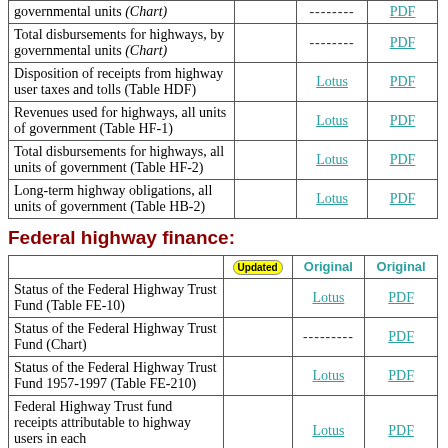|  |  | Lotus | PDF |
| --- | --- | --- | --- |
| governmental units (Chart) |  | -------- | PDF |
| Total disbursements for highways, by governmental units (Chart) |  | -------- | PDF |
| Disposition of receipts from highway user taxes and tolls (Table HDF) |  | Lotus | PDF |
| Revenues used for highways, all units of government (Table HF-1) |  | Lotus | PDF |
| Total disbursements for highways, all units of government (Table HF-2) |  | Lotus | PDF |
| Long-term highway obligations, all units of government (Table HB-2) |  | Lotus | PDF |
Federal highway finance:
|  | Updated | Original | Original |
| --- | --- | --- | --- |
| Status of the Federal Highway Trust Fund (Table FE-10) |  | Lotus | PDF |
| Status of the Federal Highway Trust Fund (Chart) |  | -------- | PDF |
| Status of the Federal Highway Trust Fund 1957-1997 (Table FE-210) |  | Lotus | PDF |
| Federal Highway Trust fund receipts attributable to highway users in each state |  | Lotus | PDF |